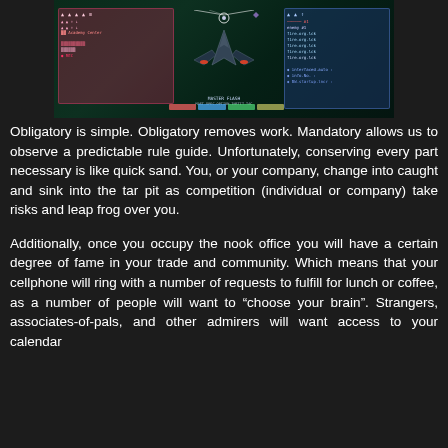[Figure (screenshot): Screenshot of a space shooter video game showing a ship in the center with HUD elements on left and right sides, dark green/teal background with lasers]
Obligatory is simple. Obligatory removes work. Mandatory allows us to observe a predictable rule guide. Unfortunately, conserving every part necessary is like quick sand. You, or your company, change into caught and sink into the tar pit as competition (individual or company) take risks and leap frog over you.
Additionally, once you occupy the nook office you will have a certain degree of fame in your trade and community. Which means that your cellphone will ring with a number of requests to fulfill for lunch or coffee, as a number of people will want to “choose your brain”. Strangers, associates-of-pals, and other admirers will want access to your calendar